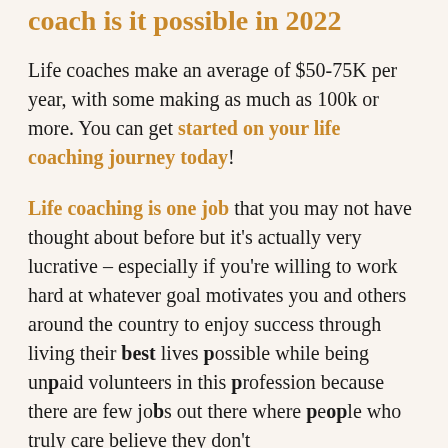coach is it possible in 2022
Life coaches make an average of $50-75K per year, with some making as much as 100k or more. You can get started on your life coaching journey today!
Life coaching is one job that you may not have thought about before but it's actually very lucrative – especially if you're willing to work hard at whatever goal motivates you and others around the country to enjoy success through living their best lives possible while being unpaid volunteers in this profession because there are few jobs out there where people who truly care believe they don't